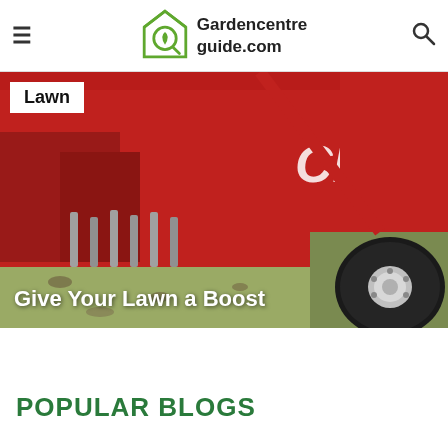Gardencentreguide.com
[Figure (photo): Close-up of a red lawn aerator machine working on dry grass, with a large black tire visible and partial text 'CLAS' on the machine body. A white badge in the top-left reads 'Lawn'. Overlaid white text at the bottom reads 'Give Your Lawn a Boost'.]
POPULAR BLOGS